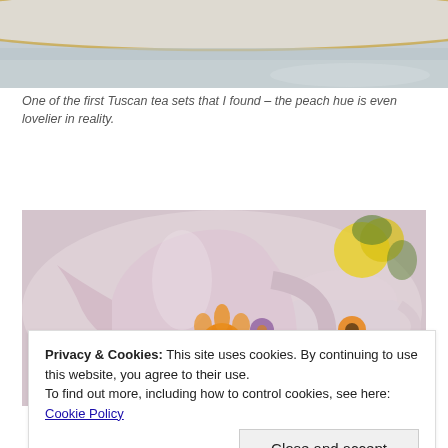[Figure (photo): Top portion of a Tuscan tea set with peach/cream hue, showing a plate with gold rim against a light background.]
One of the first Tuscan tea sets that I found – the peach hue is even lovelier in reality.
[Figure (photo): A pink floral porcelain creamer/jug in the foreground with matching teacup in background, decorated with orange and purple flowers on a white body with pink tint. Yellow flowers visible in background.]
Privacy & Cookies: This site uses cookies. By continuing to use this website, you agree to their use.
To find out more, including how to control cookies, see here: Cookie Policy
Close and accept